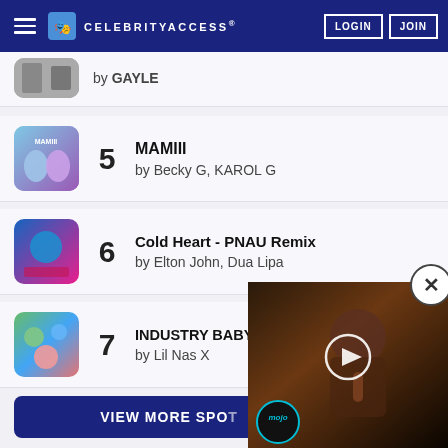CELEBRITYACCESS
by GAYLE
5 MAMIII by Becky G, KAROL G
6 Cold Heart - PNAU Remix by Elton John, Dua Lipa
7 INDUSTRY BABY (feat. Jack Harlow) by Lil Nas X
VIEW MORE SPO...
[Figure (screenshot): Video overlay showing a performer with a WatchMojo logo in the bottom left and a play button in the center]